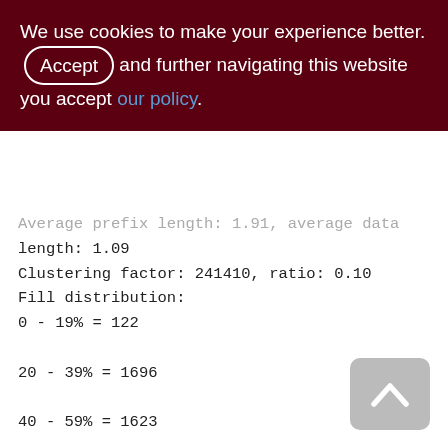We use cookies to make your experience better. By accepting and further navigating this website you accept our policy.
Average prefix length: 1.91, average data length: 1.09
Clustering factor: 241410, ratio: 0.10
Fill distribution:
0 - 19% = 122
20 - 39% = 1696
40 - 59% = 1623
60 - 79% = 496
80 - 99% = 212
Index XQS_1000_3300_SND_ID (1)
Root page: 66178, depth: 3, leaf buckets:
2928, nodes: 2395987